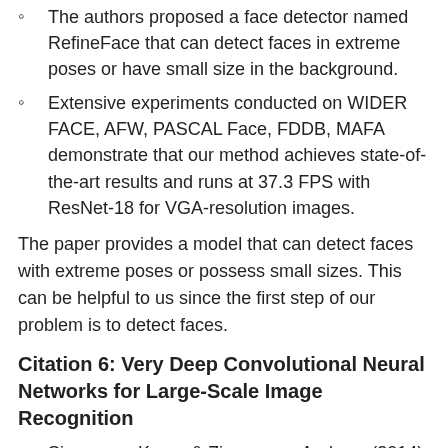The authors proposed a face detector named RefineFace that can detect faces in extreme poses or have small size in the background.
Extensive experiments conducted on WIDER FACE, AFW, PASCAL Face, FDDB, MAFA demonstrate that our method achieves state-of-the-art results and runs at 37.3 FPS with ResNet-18 for VGA-resolution images.
The paper provides a model that can detect faces with extreme poses or possess small sizes. This can be helpful to us since the first step of our problem is to detect faces.
Citation 6: Very Deep Convolutional Neural Networks for Large-Scale Image Recognition
Simonyan, Karen & Zisserman, Andrew. (2014). Very Deep Convolutional Networks for Large-Scale Image Recognition. arXiv 1409.1556.
Link: https://arxiv.org/pdf/1409.1556.pdf
The authors proposed a Convolutional Neural Network architecture, which was state-of-the-art for the Large Scale Visual Recognition Challenge